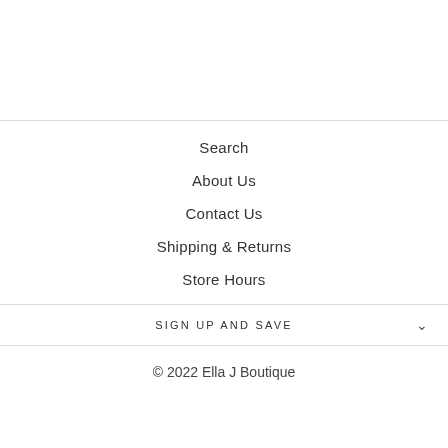Search
About Us
Contact Us
Shipping & Returns
Store Hours
SIGN UP AND SAVE
© 2022 Ella J Boutique